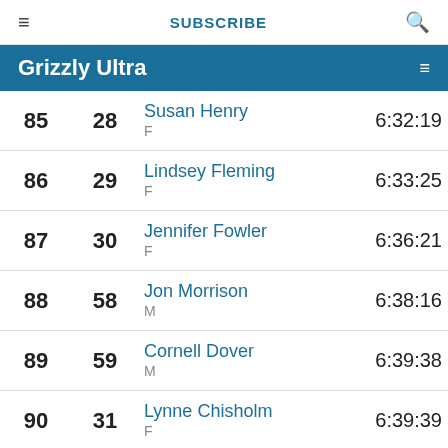≡  SUBSCRIBE  🔍
Grizzly Ultra
| Rank | Cat Rank | Name | Time |
| --- | --- | --- | --- |
| 85 | 28 | Susan Henry F | 6:32:19 |
| 86 | 29 | Lindsey Fleming F | 6:33:25 |
| 87 | 30 | Jennifer Fowler F | 6:36:21 |
| 88 | 58 | Jon Morrison M | 6:38:16 |
| 89 | 59 | Cornell Dover M | 6:39:38 |
| 90 | 31 | Lynne Chisholm F | 6:39:39 |